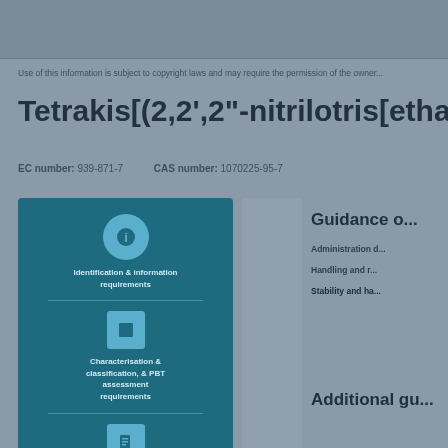Use of this information is subject to copyright laws and may require the permission...
Tetrakis[(2,2',2"-nitrilotris[ethanolato])(1-...
EC number: 939-871-7    CAS number: 1070225-95-7
[Figure (infographic): Blue panel with icons for identification/information, characterisation & classification, LPSC information, and reporting/regulations]
Guidance on...
Administrative d...
Handling and r...
Stability and ha...
Additional gu...